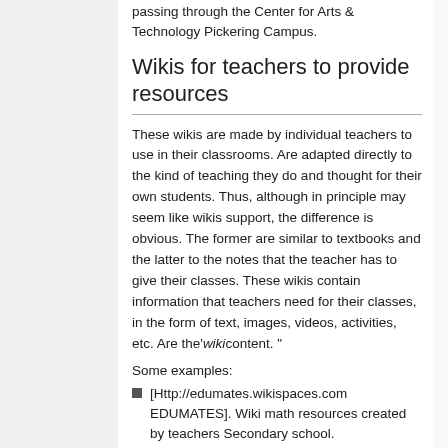passing through the Center for Arts & Technology Pickering Campus.
Wikis for teachers to provide resources
These wikis are made by individual teachers to use in their classrooms. Are adapted directly to the kind of teaching they do and thought for their own students. Thus, although in principle may seem like wikis support, the difference is obvious. The former are similar to textbooks and the latter to the notes that the teacher has to give their classes. These wikis contain information that teachers need for their classes, in the form of text, images, videos, activities, etc. Are the'wikicontent. "
Some examples:
[Http://edumates.wikispaces.com EDUMATES]. Wiki math resources created by teachers Secondary school.
[Http://wikitecno.wikispaces.com/ WikiTecno]. Place created by Wikispaces in